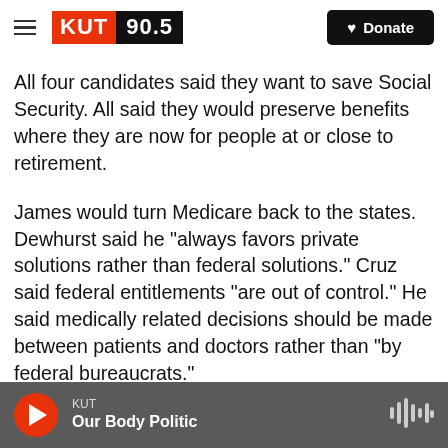KUT 90.5 — Donate
All four candidates said they want to save Social Security. All said they would preserve benefits where they are now for people at or close to retirement.
James would turn Medicare back to the states. Dewhurst said he "always favors private solutions rather than federal solutions." Cruz said federal entitlements "are out of control." He said medically related decisions should be made between patients and doctors rather than "by federal bureaucrats."
KUT — Our Body Politic